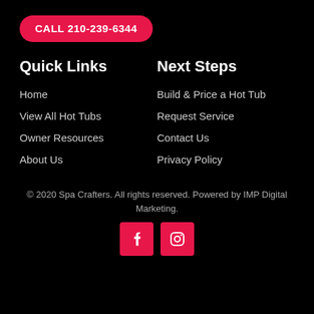CALL 210-239-6344
Quick Links
Next Steps
Home
Build & Price a Hot Tub
View All Hot Tubs
Request Service
Owner Resources
Contact Us
About Us
Privacy Policy
© 2020 Spa Crafters. All rights reserved. Powered by IMP Digital Marketing.
[Figure (logo): Facebook and Instagram social media icon buttons in pink/red squares]